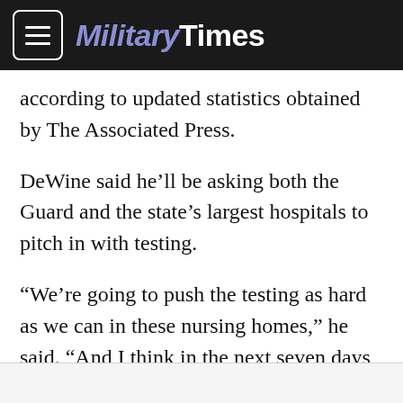MilitaryTimes
according to updated statistics obtained by The Associated Press.
DeWine said he’ll be asking both the Guard and the state’s largest hospitals to pitch in with testing.
“We’re going to push the testing as hard as we can in these nursing homes,” he said. “And I think in the next seven days we’re going to be able to report to you a lot more progress in that area.”